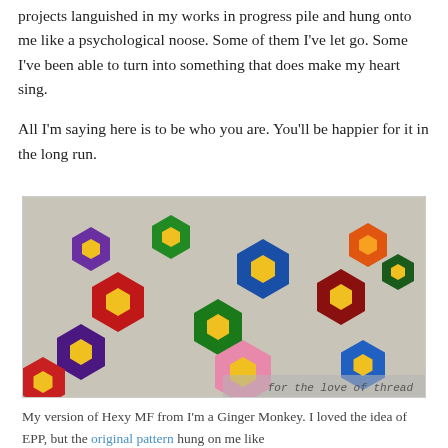projects languished in my works in progress pile and hung onto me like a psychological noose. Some of them I've let go. Some I've been able to turn into something that does make my heart sing.
All I'm saying here is to be who you are. You'll be happier for it in the long run.
[Figure (photo): A colorful hexagon flower quilt with flowers in purple, green, red, blue, pink, and orange on a newspaper-print background fabric. Watermark reads 'for the love of thread'.]
My version of Hexy MF from I'm a Ginger Monkey. I loved the idea of EPP, but the original pattern hung on me like